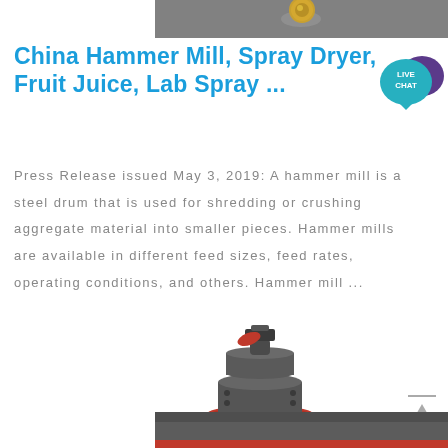[Figure (photo): Top partial image of industrial machinery, showing a gold/brass colored nozzle or component on a dark machine surface]
China Hammer Mill, Spray Dryer, Fruit Juice, Lab Spray ...
[Figure (illustration): Live Chat badge icon — teal/blue speech bubble with purple chat icon and text LIVE CHAT]
Press Release issued May 3, 2019: A hammer mill is a steel drum that is used for shredding or crushing aggregate material into smaller pieces. Hammer mills are available in different feed sizes, feed rates, operating conditions, and others. Hammer mill ...
[Figure (photo): Industrial cone crusher machine — dark grey cylindrical body with red accents, mounted on a heavy steel frame with legs, featuring a feed hopper at top and a red circular no-entry sign on the front]
[Figure (photo): Bottom partial image of industrial machinery showing red stripe detail at bottom edge]